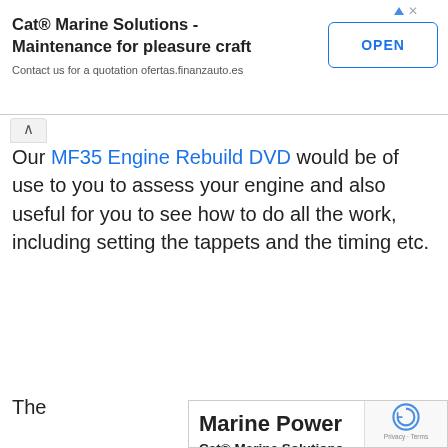[Figure (screenshot): Top advertisement banner for Cat® Marine Solutions - Maintenance for pleasure craft, with OPEN button and contact info ofertas.finanzauto.es]
Our MF35 Engine Rebuild DVD would be of use to you to assess your engine and also useful for you to see how to do all the work, including setting the tappets and the timing etc.
The
[Figure (screenshot): Second advertisement banner for Marine Power / Cat® Marine Solutions, Contact us for a quotation, ofertas.finanzauto.es, with reCAPTCHA Privacy-Terms badge]